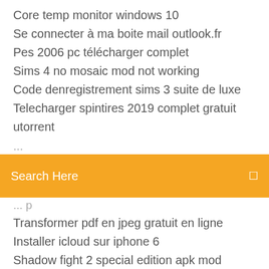Core temp monitor windows 10
Se connecter à ma boite mail outlook.fr
Pes 2006 pc télécharger complet
Sims 4 no mosaic mod not working
Code denregistrement sims 3 suite de luxe
Telecharger spintires 2019 complet gratuit utorrent
[Figure (screenshot): Orange search bar with text 'Search Here' and a small icon on the right]
Transformer pdf en jpeg gratuit en ligne
Installer icloud sur iphone 6
Shadow fight 2 special edition apk mod money
Hay day pc game
Crack microsoft office 2007 professional plus
Minecraft server exe 1.14
Telecharger jeux de voiture gratuit
Telegram messenger apk file gratuit télécharger
Sims 4 get together télécharger size
Commande vocale en ligne